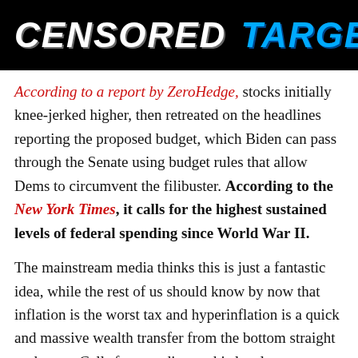[Figure (illustration): Black banner with white bold italic text 'CENSORED' and cyan bold italic text 'TARGET']
According to a report by ZeroHedge, stocks initially knee-jerked higher, then retreated on the headlines reporting the proposed budget, which Biden can pass through the Senate using budget rules that allow Dems to circumvent the filibuster. According to the New York Times, it calls for the highest sustained levels of federal spending since World War II.
The mainstream media thinks this is just a fantastic idea, while the rest of us should know by now that inflation is the worst tax and hyperinflation is a quick and massive wealth transfer from the bottom straight to the top. Calls for spending at this level